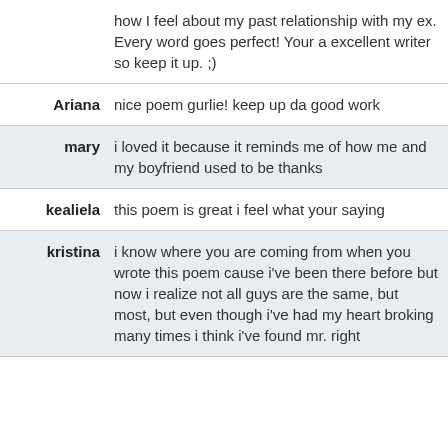how I feel about my past relationship with my ex. Every word goes perfect! Your a excellent writer so keep it up. ;)
Ariana: nice poem gurlie! keep up da good work
mary: i loved it because it reminds me of how me and my boyfriend used to be thanks
kealiela: this poem is great i feel what your saying
kristina: i know where you are coming from when you wrote this poem cause i've been there before but now i realize not all guys are the same, but most, but even though i've had my heart broking many times i think i've found mr. right